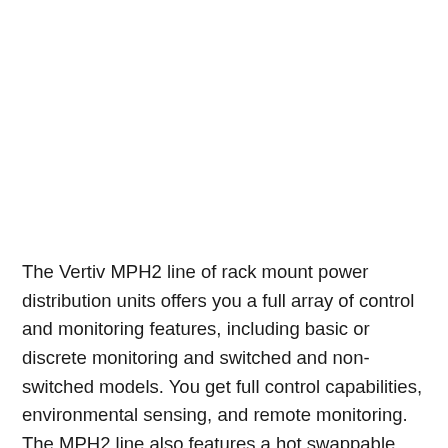The Vertiv MPH2 line of rack mount power distribution units offers you a full array of control and monitoring features, including basic or discrete monitoring and switched and non-switched models. You get full control capabilities, environmental sensing, and remote monitoring. The MPH2 line also features a hot swappable communications module and a temperature rating making it appropriate for high-temperature environments (140F/60C). Each MPH2 PDU is available in a